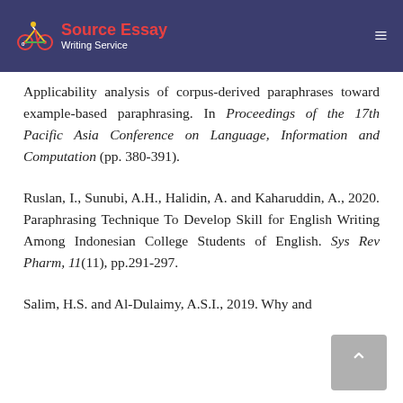Source Essay Writing Service
Applicability analysis of corpus-derived paraphrases toward example-based paraphrasing. In Proceedings of the 17th Pacific Asia Conference on Language, Information and Computation (pp. 380-391).
Ruslan, I., Sunubi, A.H., Halidin, A. and Kaharuddin, A., 2020. Paraphrasing Technique To Develop Skill for English Writing Among Indonesian College Students of English. Sys Rev Pharm, 11(11), pp.291-297.
Salim, H.S. and Al-Dulaimy, A.S.I., 2019. Why and